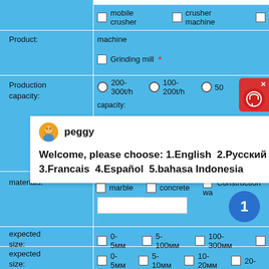mobile crusher  crusher machine
Product: machine
Grinding mill *
Production capacity:  200-300t/h  100-200t/h  50-
[Figure (screenshot): Chat popup overlay with avatar of 'peggy' and message: Welcome, please choose: 1.English  2.Русский  3.Francais  4.Español  5.bahasa Indonesia]
materials: marble  concrete  Construction wa
expected size: 0-5мм  5-100мм  100-300мм
expected size: 0-5мм  5-10мм  10-20мм  20-